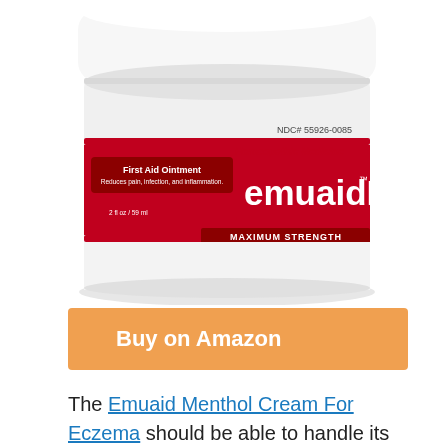[Figure (photo): emuaidMAX First Aid Ointment jar — white cylindrical container with red label showing 'emuaidMAX', 'Homeopathic Medicine', 'First Aid Ointment', 'MAXIMUM STRENGTH', 'NDC# 55926-0085', and '2 fl oz / 59 ml']
Buy on Amazon
The Emuaid Menthol Cream For Eczema should be able to handle its purpose and duties with ease. The emuaid menthol cream for eczema is safe for use anywhere on the body in any age